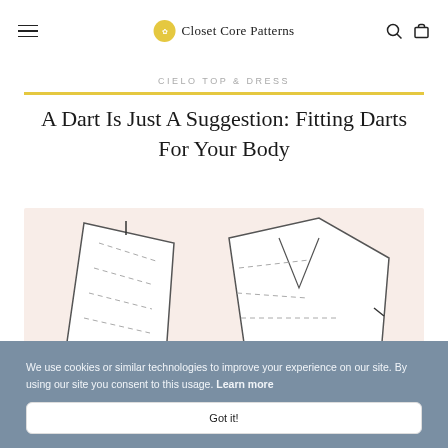Closet Core Patterns
CIELO TOP & DRESS
A Dart Is Just A Suggestion: Fitting Darts For Your Body
[Figure (illustration): Illustration of sewing pattern pieces with dashed stitch lines on a light peach background, showing two pattern pieces side by side]
We use cookies or similar technologies to improve your experience on our site. By using our site you consent to this usage. Learn more
Got it!